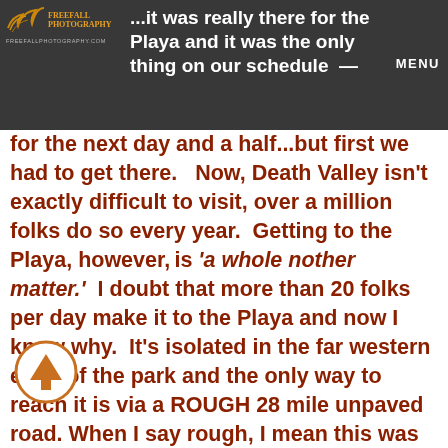...it was really there for the Playa and it was the only thing on our schedule — MENU
for the next day and a half...but first we had to get there.  Now, Death Valley isn't exactly difficult to visit, over a million folks do so every year.  Getting to the Playa, however, is 'a whole nother matter.'  I doubt that more than 20 folks per day make it to the Playa and now I know why.  It's isolated in the far western edge of the park and the only way to reach it is via a ROUGH 28 mile unpaved road. When I say rough, I mean this was by far the worst road I've ever been on in my life.  It's not a simple dirt or gravel road, its a mixture of sand and sharp broken rocks.  The